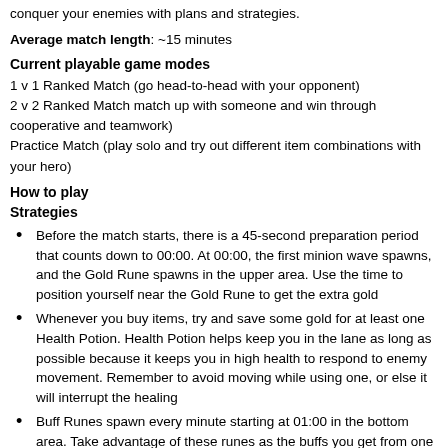conquer your enemies with plans and strategies.
Average match length: ~15 minutes
Current playable game modes
1 v 1 Ranked Match (go head-to-head with your opponent)
2 v 2 Ranked Match match up with someone and win through cooperation and teamwork)
Practice Match (play solo and try out different item combinations with your hero)
How to play
Strategies
Before the match starts, there is a 45-second preparation period that counts down to 00:00. At 00:00, the first minion wave spawns, and the Gold Rune spawns in the upper area. Use the time to position yourself near the Gold Rune to get the extra gold
Whenever you buy items, try and save some gold for at least one Health Potion. Health Potion helps keep you in the lane as long as possible because it keeps you in high health to respond to enemy movement. Remember to avoid moving while using one, or else it will interrupt the healing
Buff Runes spawn every minute starting at 01:00 in the bottom area. Take advantage of these runes as the buffs you get from one can turn the tide against the enemy, especially in 2v2
Controls